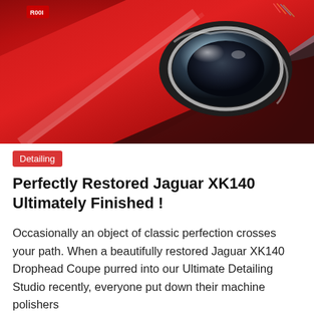[Figure (photo): Close-up photo of a red Jaguar XK140 showing the hood and a circular headlight, highly polished red bodywork]
Detailing
Perfectly Restored Jaguar XK140 Ultimately Finished !
Occasionally an object of classic perfection crosses your path. When a beautifully restored Jaguar XK140 Drophead Coupe purred into our Ultimate Detailing Studio recently, everyone put down their machine polishers